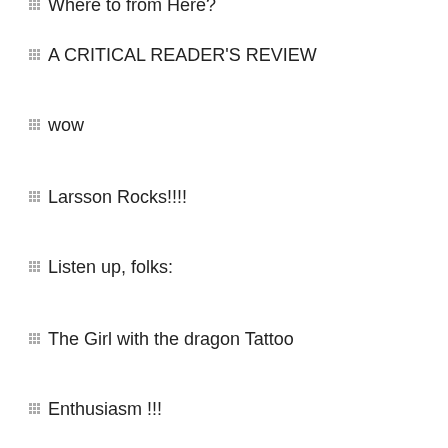Where to from Here?
A CRITICAL READER'S REVIEW
wow
Larsson Rocks!!!!
Listen up, folks:
The Girl with the dragon Tattoo
Enthusiasm !!!
…
stomper
Millennium Trilogy
Wow What a read!
Difficult
A must read!!
My Thoughts
flop !!!
From Great to Awful